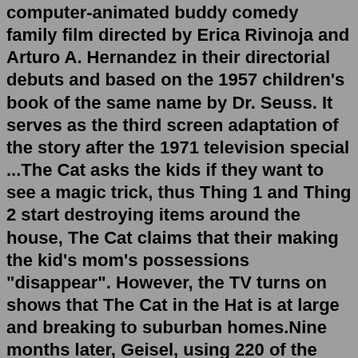computer-animated buddy comedy family film directed by Erica Rivinoja and Arturo A. Hernandez in their directorial debuts and based on the 1957 children's book of the same name by Dr. Seuss. It serves as the third screen adaptation of the story after the 1971 television special ...The Cat asks the kids if they want to see a magic trick, thus Thing 1 and Thing 2 start destroying items around the house, The Cat claims that their making the kid's mom's possessions "disappear". However, the TV turns on shows that The Cat in the Hat is at large and breaking to suburban homes.Nine months later, Geisel, using 220 of the words given to him published The Cat in the Hat, which went on to instant success. In 1960 Bennett Cerf bet Geisel $50 that he couldn't write an entire book using only fifty words. The result was Green Eggs and Ham. Cerf never paid the $50 from the bet. Helen Palmer Geisel died in 1967. 29,876 ratings701 reviews. The Cat in the Hat returns for more out-of-control fun in this wintry Beginner